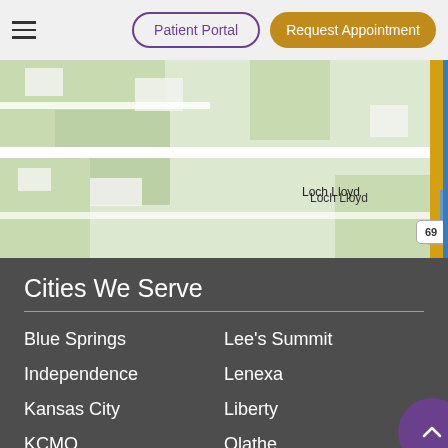Patient Portal | Request Appointment
[Figure (map): Street map showing area with route 69, Loch Lloyd label, Belton label, green areas representing parks or open land, roads in white and yellow.]
Cities We Serve
Blue Springs
Lee's Summit
Independence
Lenexa
Kansas City
Liberty
KCMO
Olathe
Lawrence
Overland Park
Leawood
Shawnee